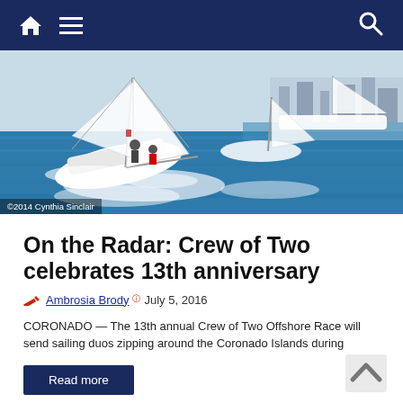Navigation bar with home icon, menu icon, and search icon
[Figure (photo): Sailboats racing on open water, heeled over in the wind, with a harbor and cityscape in the background. Multiple boats visible including a large white sailboat in the foreground.]
©2014 Cynthia Sinclair
On the Radar: Crew of Two celebrates 13th anniversary
Ambrosia Brody  July 5, 2016
CORONADO — The 13th annual Crew of Two Offshore Race will send sailing duos zipping around the Coronado Islands during
Read more